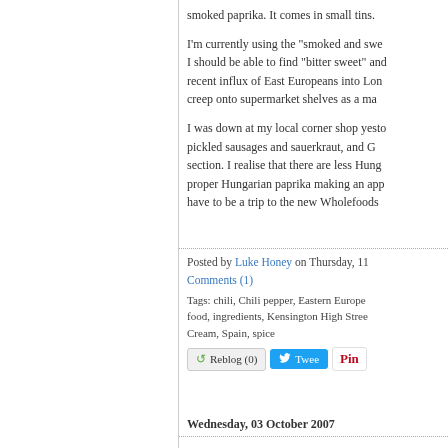smoked paprika. It comes in small tins.
I'm currently using the "smoked and swe... I should be able to find "bitter sweet" and... recent influx of East Europeans into Lon... creep onto supermarket shelves as a ma...
I was down at my local corner shop yesto... pickled sausages and sauerkraut, and G... section. I realise that there are less Hung... proper Hungarian paprika making an app... have to be a trip to the new Wholefoods...
Posted by Luke Honey on Thursday, 11
Comments (1)
Tags: chili, Chili pepper, Eastern Europe... food, ingredients, Kensington High Stree... Cream, Spain, spice
Wednesday, 03 October 2007
Salt